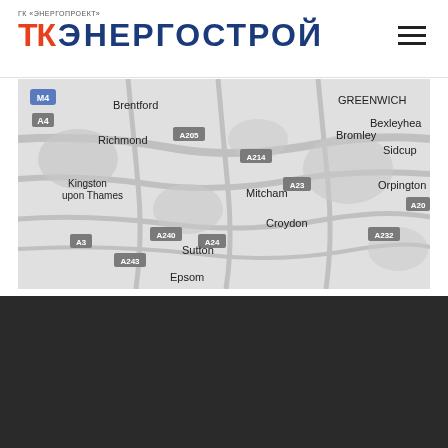[Figure (logo): TK Energostroy logo with subtitle GK Energoproekt in header, red TK text and dark blue Energostroy text]
[Figure (map): Grayscale map of South London area showing locations: Brentford, Richmond, Kingston upon Thames, Greenwich, Bexleyheath, Sidcup, Bromley, Orpington, Mitcham, Croydon, Sutton, Epsom, with road labels M4, A4, A205, A214, A23, A3, A240, A24, A243, A232, A20]
[Figure (logo): TK Energostroy logo on dark background footer with subtitle GK Energoproekt, white and red text, with blue scroll-to-top button]